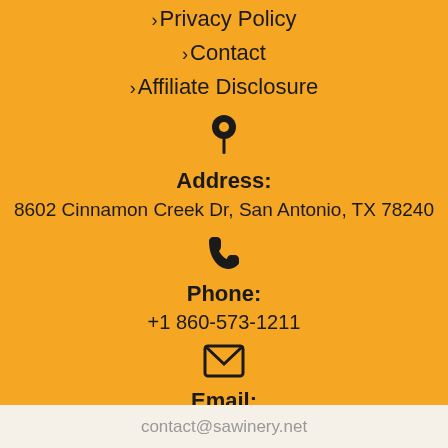> Privacy Policy
> Contact
> Affiliate Disclosure
Address:
8602 Cinnamon Creek Dr, San Antonio, TX 78240
Phone:
+1 860-573-1211
Email:
contact@sawinery.net